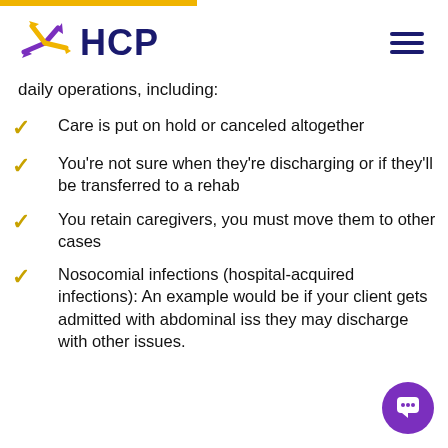HCP
daily operations, including:
Care is put on hold or canceled altogether
You're not sure when they're discharging or if they'll be transferred to a rehab
You retain caregivers, you must move them to other cases
Nosocomial infections (hospital-acquired infections): An example would be if your client gets admitted with abdominal iss they may discharge with other issues.